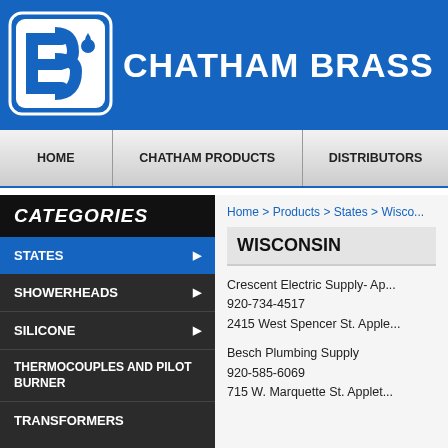CHATHAM BRASS
HOME | CHATHAM PRODUCTS | DISTRIBUTORS
Home > Products > States > Wisco...
WISCONSIN
CATEGORIES
STATES
SHOWERHEADS
SILICONE
THERMOCOUPLES AND PILOT BURNER
TRANSFORMERS
Crescent Electric Supply- Ap...
920-734-4517
2415 West Spencer St. Apple...
Besch Plumbing Supply
920-585-6069
715 W. Marquette St. Applet...